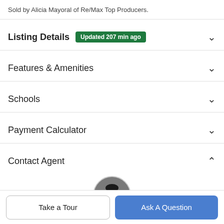Sold by Alicia Mayoral of Re/Max Top Producers.
Listing Details  Updated 207 min ago
Features & Amenities
Schools
Payment Calculator
Contact Agent
[Figure (photo): Circular headshot photo of a male real estate agent in a suit]
Take a Tour
Ask A Question